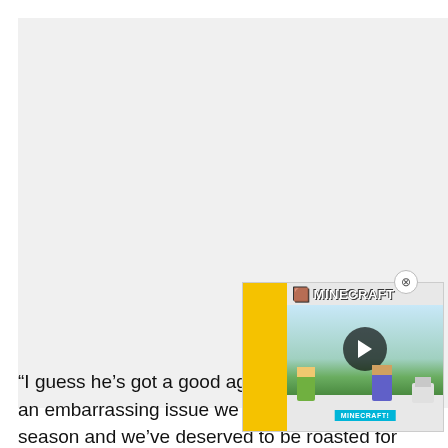[Figure (photo): Large grey placeholder image area occupying most of the upper portion of the page]
[Figure (screenshot): Minecraft video advertisement overlay with yellow border, Minecraft logo, play button, characters, and MINECRAFT! label in cyan]
“I guess he’s got a good agent? [partially obscured] an embarrassing issue we created last season and we’ve deserved to be roasted for it, but I’m still